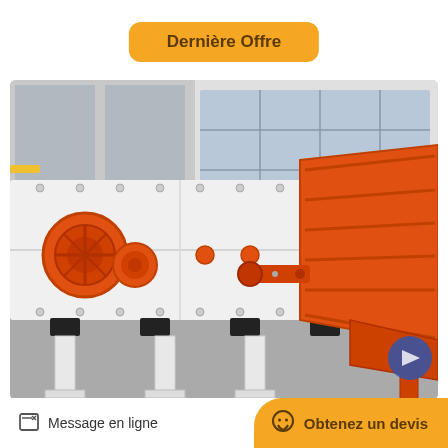Dernière Offre
[Figure (photo): Industrial heavy-duty vibrating screen / feeder machine with white painted steel body and orange/red components, photographed in a factory/warehouse setting. The machine has two large orange circular drive motors on the left side and a large orange chute/hopper structure on the right side, supported by white metal legs.]
Message en ligne
Obtenez un devis